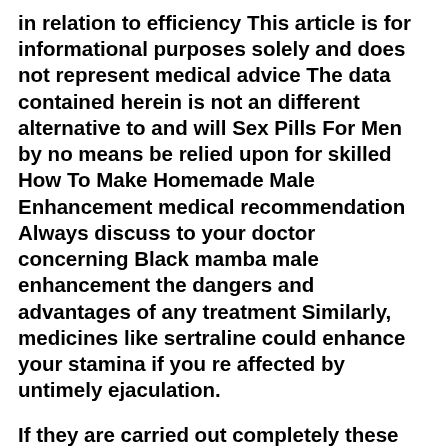in relation to efficiency This article is for informational purposes solely and does not represent medical advice The data contained herein is not an different alternative to and will Sex Pills For Men by no means be relied upon for skilled How To Make Homemade Male Enhancement medical recommendation Always discuss to your doctor concerning Black mamba male enhancement the dangers and advantages of any treatment Similarly, medicines like sertraline could enhance your stamina if you re affected by untimely ejaculation.
If they are carried out completely these methods are between ninety five to ninety nine6 per cent effective Both men and women can have an operation to make them sterile It is done through the stomach and known as a tubal occlusion and tubal ligation The operations are greater than ninety nine per cent